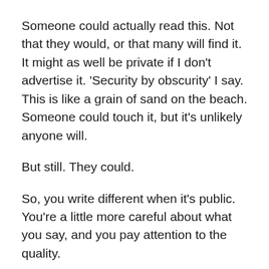Someone could actually read this. Not that they would, or that many will find it. It might as well be private if I don’t advertise it. ‘Security by obscurity’ I say. This is like a grain of sand on the beach. Someone could touch it, but it’s unlikely anyone will.
But still. They could.
So, you write different when it’s public. You’re a little more careful about what you say, and you pay attention to the quality.
I think that’s why Seth says to do it every day.
Write something worth reading. Write something that people might read.
And write poorly. At first.